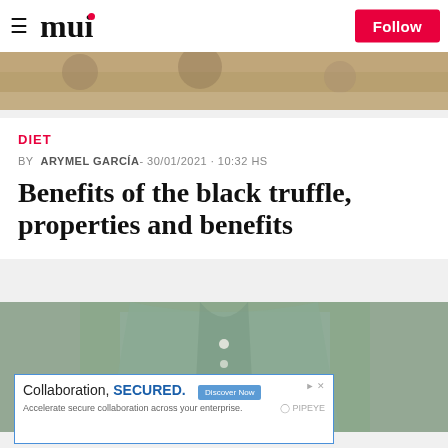≡ mui Follow
[Figure (photo): Top strip showing black truffle texture, dark brown/tan rough surface]
DIET
BY  ARYMEL GARCÍA- 30/01/2021 · 10:32 HS
Benefits of the black truffle, properties and benefits
[Figure (photo): Person wearing a sage green/teal button-up shirt, cropped torso view]
[Figure (screenshot): Advertisement banner: Collaboration, SECURED. Accelerate secure collaboration across your enterprise. Discover How button. PIPEYE logo.]